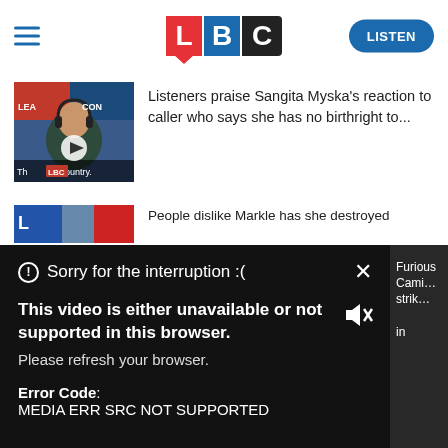[Figure (logo): LBC radio website header with hamburger menu, LBC logo, and LISTEN button]
[Figure (photo): Thumbnail of Sangita Myska with video play button and text 'This is my country']
Listeners praise Sangita Myska’s reaction to caller who says she has no birthright to...
[Figure (photo): Partially visible second article thumbnail]
People dislike Markle has she destroyed
[Figure (screenshot): Error overlay: Sorry for the interruption :( with close X, mute icon, and right panel showing Furious Cami... strik...]
Sorry for the interruption :(
This video is either unavailable or not supported in this browser. Please refresh your browser.
Error Code: MEDIA ERR SRC NOT SUPPORTED
Furious Cami... strik...